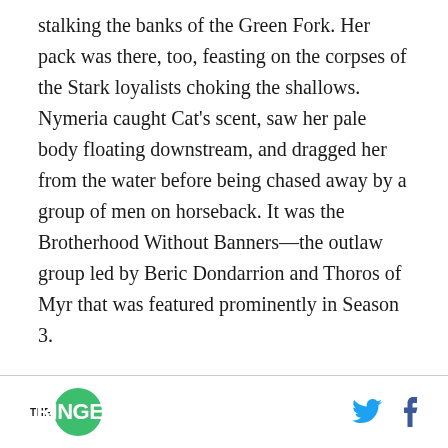stalking the banks of the Green Fork. Her pack was there, too, feasting on the corpses of the Stark loyalists choking the shallows. Nymeria caught Cat's scent, saw her pale body floating downstream, and dragged her from the water before being chased away by a group of men on horseback. It was the Brotherhood Without Banners—the outlaw group led by Beric Dondarrion and Thoros of Myr that was featured prominently in Season 3.

Thoros, the Red Priest, refused to give Cat the kiss
THE RINGER